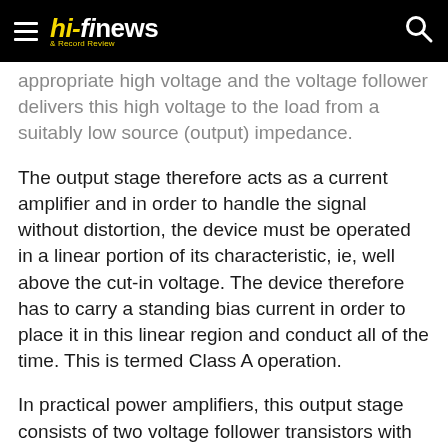hi-fi news & Record Review
appropriate high voltage and the voltage follower delivers this high voltage to the load from a suitably low source (output) impedance.
The output stage therefore acts as a current amplifier and in order to handle the signal without distortion, the device must be operated in a linear portion of its characteristic, ie, well above the cut-in voltage. The device therefore has to carry a standing bias current in order to place it in this linear region and conduct all of the time. This is termed Class A operation.
In practical power amplifiers, this output stage consists of two voltage follower transistors with the